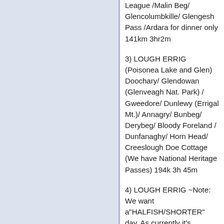League /Malin Beg/ Glencolumbkille/ Glengesh Pass /Ardara for dinner only 141km 3hr2m
3) LOUGH ERRIG (Poisonea Lake and Glen) Doochary/ Glendowan (Glenveagh Nat. Park) / Gweedore/ Dunlewy (Errigal Mt.)/ Annagry/ Bunbeg/ Derybeg/ Bloody Foreland / Dunfanaghy/ Horn Head/ Creeslough Doe Cottage (We have National Heritage Passes) 194k 3h 45m
4) LOUGH ERRIG ~Note: We want a"HALFISH/SHORTER" day. As currently it's constructed: Burtonport /Dungloe / Portnoo/ Ardara revisit 112